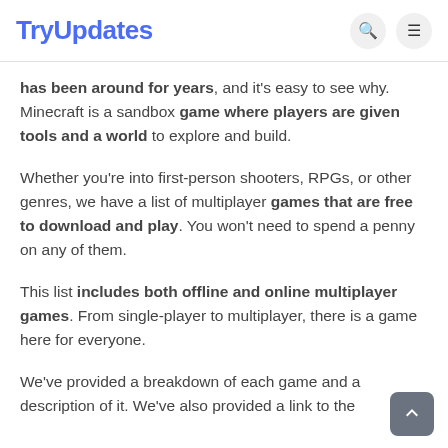TryUpdates
has been around for years, and it's easy to see why. Minecraft is a sandbox game where players are given tools and a world to explore and build.
Whether you're into first-person shooters, RPGs, or other genres, we have a list of multiplayer games that are free to download and play. You won't need to spend a penny on any of them.
This list includes both offline and online multiplayer games. From single-player to multiplayer, there is a game here for everyone.
We've provided a breakdown of each game and a description of it. We've also provided a link to the